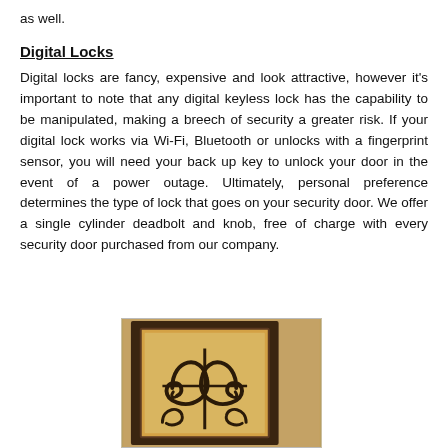as well.
Digital Locks
Digital locks are fancy, expensive and look attractive, however it's important to note that any digital keyless lock has the capability to be manipulated, making a breech of security a greater risk. If your digital lock works via Wi-Fi, Bluetooth or unlocks with a fingerprint sensor, you will need your back up key to unlock your door in the event of a power outage. Ultimately, personal preference determines the type of lock that goes on your security door. We offer a single cylinder deadbolt and knob, free of charge with every security door purchased from our company.
[Figure (photo): Photo of a decorative security door with ornamental wrought iron scrollwork pattern on a frosted/amber glass panel, dark frame, tan/beige wall surround.]